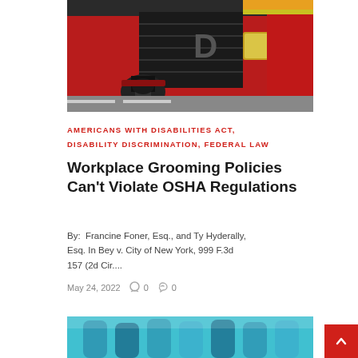[Figure (photo): Close-up photo of a red fire truck with equipment visible in an urban street setting]
AMERICANS WITH DISABILITIES ACT, DISABILITY DISCRIMINATION, FEDERAL LAW
Workplace Grooming Policies Can't Violate OSHA Regulations
By: Francine Foner, Esq., and Ty Hyderally, Esq. In Bey v. City of New York, 999 F.3d 157 (2d Cir....
May 24, 2022  0  0
[Figure (photo): Partial view of a blue/teal background with what appears to be blue cylindrical objects]